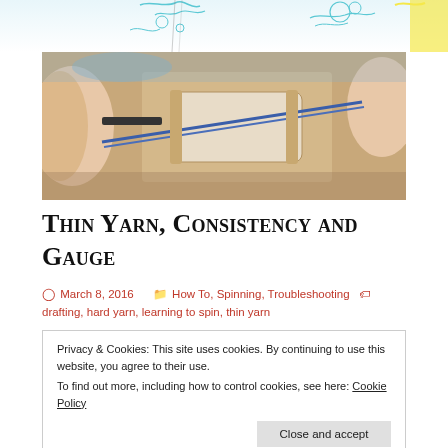decorative banner header
[Figure (photo): Close-up photo of hands spinning yarn on a spinning wheel, with blue yarn visible]
Thin Yarn, Consistency and Gauge
March 8, 2016   How To, Spinning, Troubleshooting   drafting, hard yarn, learning to spin, thin yarn
Privacy & Cookies: This site uses cookies. By continuing to use this website, you agree to their use.
To find out more, including how to control cookies, see here: Cookie Policy
Close and accept